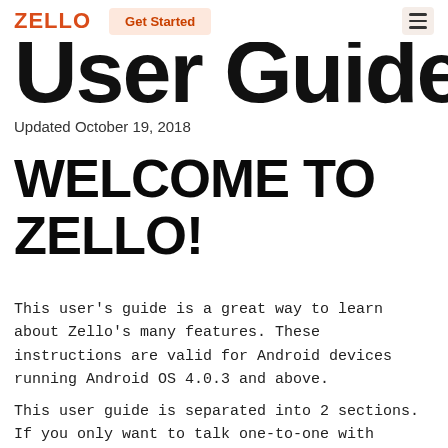ZELLO | Get Started
User Guide
Updated October 19, 2018
WELCOME TO ZELLO!
This user's guide is a great way to learn about Zello's many features. These instructions are valid for Android devices running Android OS 4.0.3 and above.
This user guide is separated into 2 sections. If you only want to talk one-to-one with